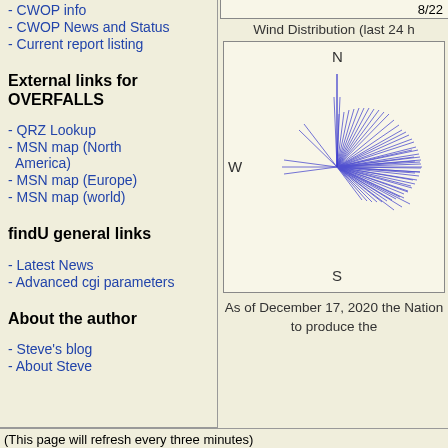- CWOP info
- CWOP News and Status
- Current report listing
External links for OVERFALLS
- QRZ Lookup
- MSN map (North America)
- MSN map (Europe)
- MSN map (world)
findU general links
- Latest News
- Advanced cgi parameters
About the author
- Steve's blog
- About Steve
[Figure (other): Wind Distribution rose diagram showing wind directions over last 24 hours for OVERFALLS station, with dominant winds from the east/northeast direction, plotted on a compass rose with N, S, W labels visible]
Wind Distribution (last 24 h
As of December 17, 2020 the Nation to produce the
8/22
(This page will refresh every three minutes)